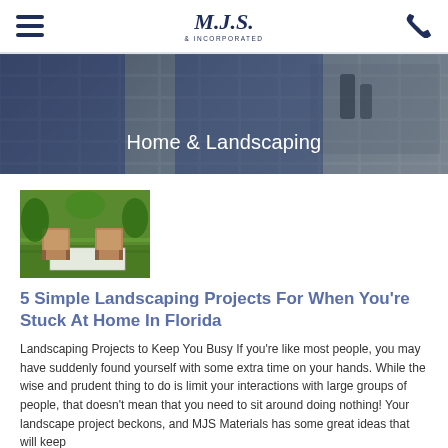M.J.S. Incorporated — navigation header with hamburger menu and phone icon
[Figure (photo): Hero banner with pavers/landscaping background image and text overlay reading 'Home & Landscaping']
[Figure (photo): Small thumbnail photo of outdoor garden chairs on green lawn]
5 Simple Landscaping Projects For When You're Stuck At Home In Florida
Landscaping Projects to Keep You Busy If you're like most people, you may have suddenly found yourself with some extra time on your hands. While the wise and prudent thing to do is limit your interactions with large groups of people, that doesn't mean that you need to sit around doing nothing! Your landscape project beckons, and MJS Materials has some great ideas that will keep